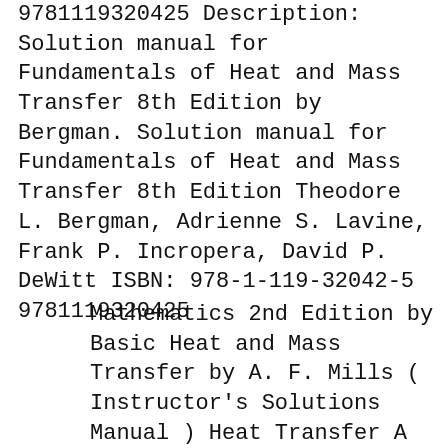9781119320425 Description: Solution manual for Fundamentals of Heat and Mass Transfer 8th Edition by Bergman. Solution manual for Fundamentals of Heat and Mass Transfer 8th Edition Theodore L. Bergman, Adrienne S. Lavine, Frank P. Incropera, David P. DeWitt ISBN: 978-1-119-32042-5 9781119320425
Mathematics 2nd Edition by Basic Heat and Mass Transfer by A. F. Mills ( Instructor's Solutions Manual ) Heat Transfer A Practical Approach ,Yunus A. Cengel 2d ed ( Instructor's Solutions solution manual for heat mass transfer